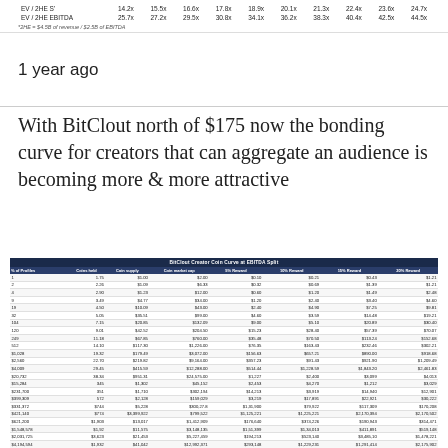|  | 14.2x | 15.5x | 16.6x | 17.8x | 18.9x | 20.1x | 21.3x | 22.4x | 23.6x | 24.7x |
| --- | --- | --- | --- | --- | --- | --- | --- | --- | --- | --- |
| EV / 2HE S' | 14.2x | 15.5x | 16.6x | 17.8x | 18.9x | 20.1x | 21.3x | 22.4x | 23.6x | 24.7x |
| EV / 2HE EBITDA | 25.7x | 27.2x | 29.5x | 30.8x | 34.1x | 36.2x | 38.3x | 40.4x | 42.5x | 44.5x |
*2HE = $4.5B of revenue / $2.5B of EBITDA
1 year ago
With BitClout north of $175 now the bonding curve for creators that can aggregate an audience is becoming more & more attractive
| # of Profiles | Coins held | Coin supply | Coin market cap | 5% Reward | 10% Reward | 15% Reward | 20% Reward |
| --- | --- | --- | --- | --- | --- | --- | --- |
| 1 | 1.75 | $1.00 | $2.00 | $0.10 | $0.21 | $0.43 | $1.21 |
| 2 | 2.26 | $1.09 | $6.33 | $0.32 | $0.60 | $1.39 | $1.21 |
| 3 | 2.89 | $1.23 | $12.00 | $0.60 | $1.20 | $1.40 | $2.48 |
| 9 | 3.49 | $4.77 | $34.00 | $1.20 | $2.40 | $3.40 | $4.60 |
| 19 | 4.50 | $10.09 | $43.00 | $2.49 | $4.90 | $7.28 | $9.81 |
| 32 | 5.05 | $35.51 | $99.00 | $4.00 | $3.59 | $14.48 | $19.21 |
| 104 | 7.15 | $20.05 | $132.09 | $9.00 | $5.10 | $20.89 | $30.40 |
| 120 | 9.01 | $42.52 | $204.50 | $15.25 | $28.40 | $57.39 | $70.07 |
| 249 | 11.10 | $67.08 | $760.00 | $35.48 | $70.50 | $113.24 | $152.68 |
| 512 | 14.18 | $117.30 | $1,226.00 | $76.38 | $163.43 | $232.46 | $302.21 |
| 1,028 | 19.32 | $170.49 | $3,072.00 | $156.63 | $657.21 | $890.00 | $918.68 |
| 2,500 | 22.70 | $219.82 | $9,164.00 | $357.20 | $91.43 | $921.90 | $1,209.49 |
| 4,009 | 29.45 | $415.59 | $12,288.00 | $514.44 | $1,228.59 | $1,843.20 | $2,461.83 |
| 20,732 | 38.34 | $951.31 | $24,575.00 | $1,227 | $2,400 | $3,099 | $4,013 |
| 15,204 | 345 | $1,302 | $45,152 | $2,453 | $4,270 | $1,212 | $3,029 |
| 231,700 | 351 | $1,710 | $302,194 | $14,213 | $3,919 | $14,940 | $12,901 |
| $99,309 | 572 | $2,128 | $159,029 | $3,219 | $17,891 | $22,921 | $30,222 |
| $331,372 | 331 | $5,228 | $300,271.6 | $33,900 | $70,022 | $117,089 | $170,208 |
| $421,140 | $744 | $13,911 | $798,522 | $372,222 | $172,893 | $179,299 | $170,208 |
| $621,200 | $148 | $13,017 | $1,412,909 | $176,640 | $374,226 | $196,043 | $314,471 |
| $1,648,578 | $162 | $11,575 | $3,148,103 | $1,51,388 | $1,14,013 | $411,891 | $519,148 |
| $2,031,725 | $205 | $21,453 | $5,227,450 | $194,213 | $523,140 | $240,10 | $1,478,221 |
| $4,194,584 | $332 | $41,042 | $12,992,311 | $293,140 | $1,229,231 | $1,291,414 | $2,175,902 |
| $12,290,890 | $1,903 | $93,270 | $23,720,324 | $1,230,231 | $2,519,982 | $3,174,819 | $4,912,100 |
| $21,711,470 | $948 | $702,974 | $2,531,848 | $2,515,954 | $9,521,793 | $1,245,717 | $19,905,228 |
| $22,946,412 | $1,527 | $116,942 | $102,893,226 | $5,032,719 | $17,990,120 | $14,192,924 | $23,142,919 |
| $97,139,814 | $1,907 | $237,111 | $259,1,289,462 | $11,8,099,300 | $28,732,690 | $52,798,1,563 | $98,299,315 |
| $134,211,128 | $178 | $199,889 | $452,641,168 | $25,112,490 | $41,799,158 | $52,261,175 | $85,103,417 |
| $255,631,488 | $1,150 | $9524,278 | $1,071,187,555 | $441,285,130 | $33,479,837 | $131,791,059 | $271,29,1,219 |
| $2,54,578,712 | $1,850 | $1,193,444 | $2,519,957,2,730 | $90,527,831 | $150,997,214 | $251,490,1,918 | $305,122,947 |
| $1,213,741,124 | $1,921 | $1,730,540 | $2,221,1,221,412 | $151,901,214 | $2,309,141,241 | $2,421,182,021 | $1,044,242,554 |
| $1,142,490,940 | $2,207 | $1,733,194 | $2,442,493,944 | $122,184,547 | $2944,241,054 | $2,290,981,042 | $1,230,4,100,128 |
| $4,224,281,228 | $2,908 | $4,423,117 | $12,224,321,928 | $944,240,224 | $1,230,490,100 | $1,732,132,202 | $22,175,892,218 |
| $19,161,834,002 | $3,907 | $1,009,382 | $22,760,102,170 | $1,228,421,100 | $2,512,299,278 | $2,019,440,299 | $39,162,905,715 |
| $17,174,989,184 | $4,612 | $11,173,419 | $1,621,439,992 | $2,979,083,278 | $3,113,982,769 | $1,710,941,120 | $13,251,221,653 |
| $32,470,718,988 | $4,612 | $17,799,139 | $24,009,216,134 | $9,163,083,799 | $12,397,321,419 | $15,491,932,249 | $22,793,412,52 |